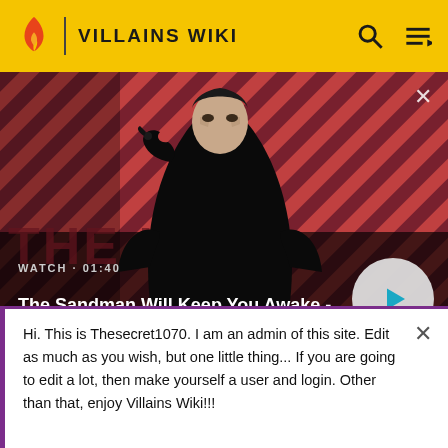VILLAINS WIKI
[Figure (screenshot): Video thumbnail showing a dark figure with a raven on shoulder against a red and dark diagonal striped background. Text overlay reads WATCH · 01:40 and title The Sandman Will Keep You Awake - The Loop with a play button on the right.]
from the Mitchells. After discovering that they have been
overheard, they convince Billy to keep quiet about it... and
Hi. This is Thesecret1070. I am an admin of this site. Edit as much as you wish, but one little thing... If you are going to edit a lot, then make yourself a user and login. Other than that, enjoy Villains Wiki!!!